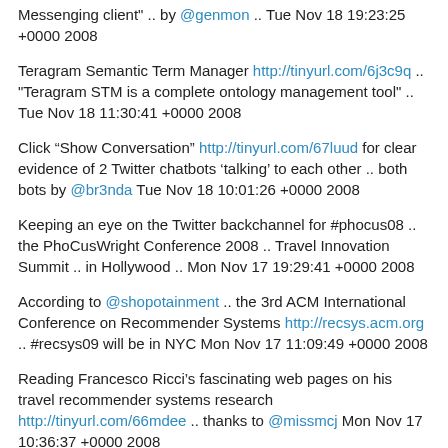Messenging client" .. by @genmon .. Tue Nov 18 19:23:25 +0000 2008
Teragram Semantic Term Manager http://tinyurl.com/6j3c9q .. "Teragram STM is a complete ontology management tool" .. Tue Nov 18 11:30:41 +0000 2008
Click “Show Conversation” http://tinyurl.com/67luud for clear evidence of 2 Twitter chatbots ‘talking’ to each other .. both bots by @br3nda Tue Nov 18 10:01:26 +0000 2008
Keeping an eye on the Twitter backchannel for #phocus08 .. the PhoCusWright Conference 2008 .. Travel Innovation Summit .. in Hollywood .. Mon Nov 17 19:29:41 +0000 2008
According to @shopotainment .. the 3rd ACM International Conference on Recommender Systems http://recsys.acm.org .. #recsys09 will be in NYC Mon Nov 17 11:09:49 +0000 2008
Reading Francesco Ricci's fascinating web pages on his travel recommender systems research http://tinyurl.com/66mdee .. thanks to @missmcj Mon Nov 17 10:36:37 +0000 2008
FriendFeed over IM http://friendfeed.com/about/im .. “have an IM sent to your Google Talk / Jabber account whenever there’s new activity” .. Mon Nov 17 09:09:46 +0000 2008